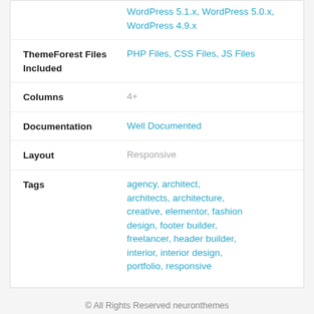|  | WordPress 5.1.x, WordPress 5.0.x, WordPress 4.9.x |
| ThemeForest Files Included | PHP Files, CSS Files, JS Files |
| Columns | 4+ |
| Documentation | Well Documented |
| Layout | Responsive |
| Tags | agency, architect, architects, architecture, creative, elementor, fashion design, footer builder, freelancer, header builder, interior, interior design, portfolio, responsive |
© All Rights Reserved neuronthemes
Contact the Envato Market Help Team